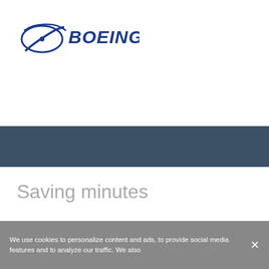[Figure (logo): Boeing logo — stylized globe/wing icon in blue with 'BOEING' wordmark in bold blue italic lettering]
Saving minutes
We use cookies to personalize content and ads, to provide social media features and to analyze our traffic. We also